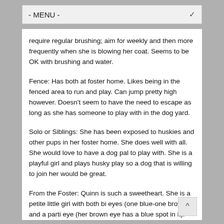- MENU -
require regular brushing; aim for weekly and then more frequently when she is blowing her coat. Seems to be OK with brushing and water.
Fence: Has both at foster home. Likes being in the fenced area to run and play. Can jump pretty high however. Doesn't seem to have the need to escape as long as she has someone to play with in the dog yard.
Solo or Siblings: She has been exposed to huskies and other pups in her foster home. She does well with all. She would love to have a dog pal to play with. She is a playful girl and plays husky play so a dog that is willing to join her would be great.
From the Foster: Quinn is such a sweetheart. She is a petite little girl with both bi eyes (one blue-one brown) and a parti eye (her brown eye has a blue spot in it).